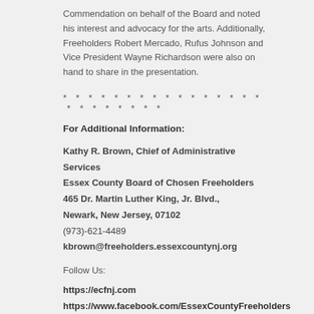Commendation on behalf of the Board and noted his interest and advocacy for the arts. Additionally, Freeholders Robert Mercado, Rufus Johnson and Vice President Wayne Richardson were also on hand to share in the presentation.
* * * * * * * * * * * * * * * * * * * * * * * *
For Additional Information:
Kathy R. Brown, Chief of Administrative Services
Essex County Board of Chosen Freeholders
465 Dr. Martin Luther King, Jr. Blvd.,
Newark, New Jersey, 07102
(973)-621-4489
kbrown@freeholders.essexcountynj.org
Follow Us:
https://ecfnj.com
https://www.facebook.com/EssexCountyFreeholders
https://www.instagram.com/EssexCountyFreeholders